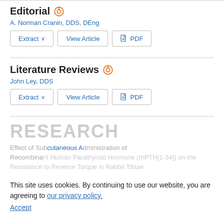Editorial
A. Norman Cranin, DDS, DEng
Extract  View Article  PDF
Literature Reviews
John Ley, DDS
Extract  View Article  PDF
RESEARCH
This site uses cookies. By continuing to use our website, you are agreeing to our privacy policy. Accept
Effect of Subcutaneous Administration of Recombinant Human Parathyroid Hormone (rhPTH[1-34]) on the Resistance to Reverse Torque in Rabbit Tibiae